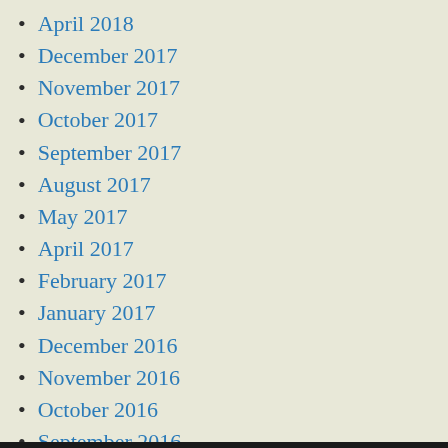April 2018
December 2017
November 2017
October 2017
September 2017
August 2017
May 2017
April 2017
February 2017
January 2017
December 2016
November 2016
October 2016
September 2016